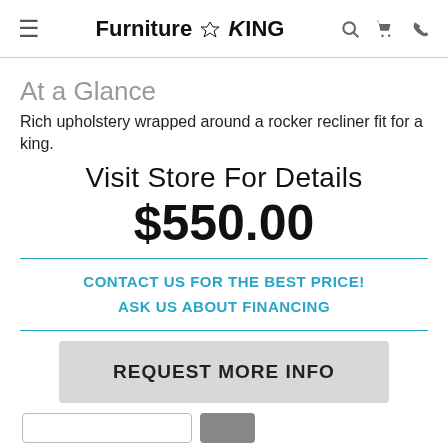Furniture King
At a Glance
Rich upholstery wrapped around a rocker recliner fit for a king.
Visit Store For Details
$550.00
CONTACT US FOR THE BEST PRICE!
ASK US ABOUT FINANCING
REQUEST MORE INFO